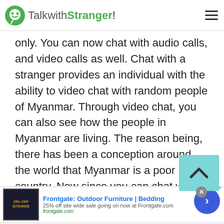TalkwithStranger!
only. You can now chat with audio calls, and video calls as well. Chat with a stranger provides an individual with the ability to video chat with random people of Myanmar. Through video chat, you can also see how the people in Myanmar are living. The reason being, there has been a conception around the world that Myanmar is a poor country. Now since you can chat with people of Myanmar these things can also be solved easily. Apart from that, it also enables people to make audio calls. The feature of audio, video, and regular text chatting makes a Talkwithstranger a unique platform.
[Figure (screenshot): Advertisement banner for Frontgate: Outdoor Furniture | Bedding - 25% off site wide sale going on now at Frontgate.com]